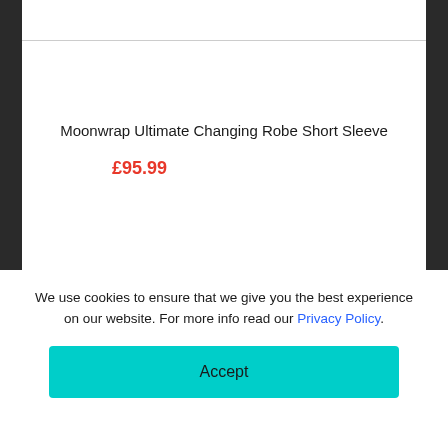Moonwrap Ultimate Changing Robe Short Sleeve
£95.99
We use cookies to ensure that we give you the best experience on our website. For more info read our Privacy Policy.
Accept